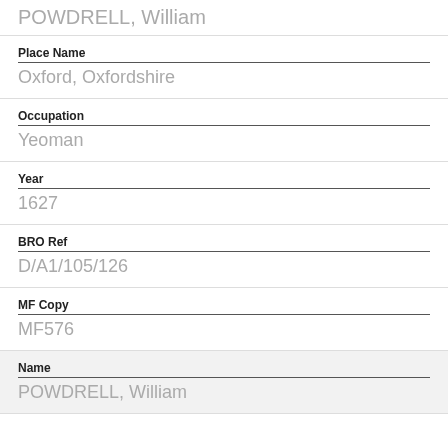POWDRELL, William
Place Name
Oxford, Oxfordshire
Occupation
Yeoman
Year
1627
BRO Ref
D/A1/105/126
MF Copy
MF576
Name
POWDRELL, William